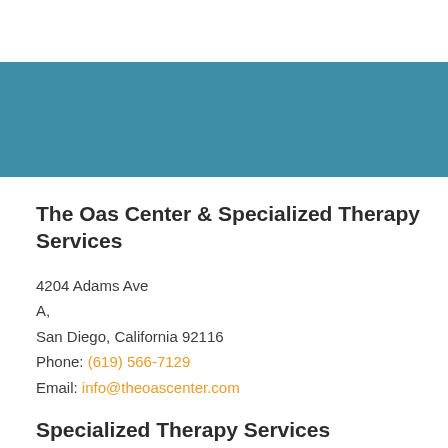[Figure (other): Teal/blue decorative banner strip across the top portion of the page]
The Oas Center & Specialized Therapy Services
4204 Adams Ave
A,
San Diego, California 92116
Phone: (619) 566-7129
Email: info@theoascenter.com
Specialized Therapy Services